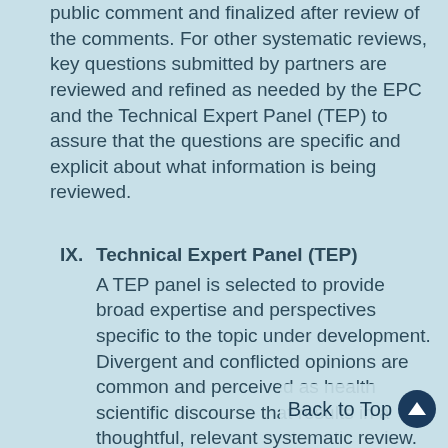public comment and finalized after review of the comments. For other systematic reviews, key questions submitted by partners are reviewed and refined as needed by the EPC and the Technical Expert Panel (TEP) to assure that the questions are specific and explicit about what information is being reviewed.
IX. Technical Expert Panel (TEP)
A TEP panel is selected to provide broad expertise and perspectives specific to the topic under development. Divergent and conflicted opinions are common and perceived as health scientific discourse that results in a thoughtful, relevant systematic review. Therefore study questions, design and/or methodological appro... necessarily represent the views of individual